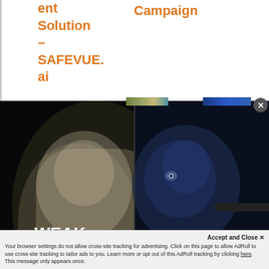ent Solution — SAFEVUE.ai
Campaign
[Figure (illustration): Advertisement showing two wolf faces split down the middle — left side shows a white/light wolf with text 'WEAK point solutions? NO THX!' and right side shows a dark blue wolf with text 'STRONG end-to-end? YESSSSS, I want' and PakEnergy logo. Below the ad is a blue 'Lemme Show You >' button.]
Accept and Close ✕
Your browser settings do not allow cross-site tracking for advertising. Click on this page to allow AdRoll to use cross-site tracking to tailor ads to you. Learn more or opt out of this AdRoll tracking by clicking here. This message only appears once.